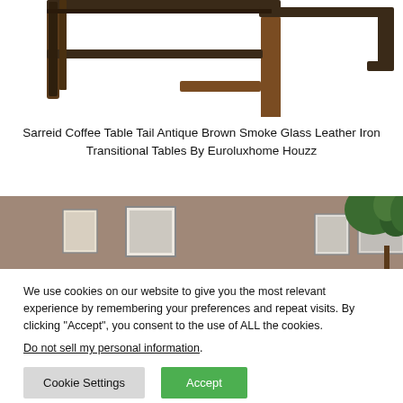[Figure (photo): Close-up photo of a coffee table base with dark metal frame and brown wood legs, shot from below/side angle on white background]
Sarreid Coffee Table Tail Antique Brown Smoke Glass Leather Iron Transitional Tables By Euroluxhome Houzz
[Figure (photo): Interior room photo showing a wall with framed artwork/pictures and a green plant on the right side, taupe/brown wall color]
We use cookies on our website to give you the most relevant experience by remembering your preferences and repeat visits. By clicking “Accept”, you consent to the use of ALL the cookies.
Do not sell my personal information.